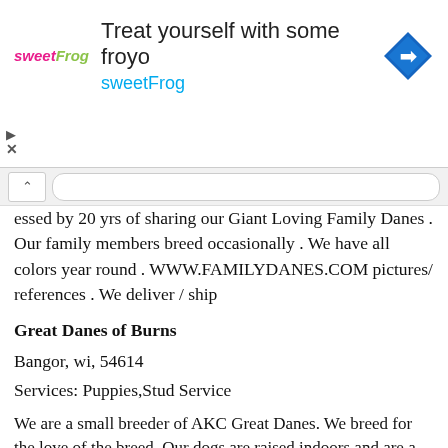[Figure (other): sweetFrog frozen yogurt advertisement banner with logo, text 'Treat yourself with some froyo sweetFrog', and a blue diamond navigation icon]
essed by 20 yrs of sharing our Giant Loving Family Danes . Our family members breed occasionally . We have all colors year round . WWW.FAMILYDANES.COM pictures/ references . We deliver / ship
Great Danes of Burns
Bangor, wi, 54614
Services: Puppies,Stud Service
We are a small breeder of AKC Great Danes. We breed for the love of the breed. Our dogs are raised indoors and are a huge part of our family. Our 3 young children love having such a big dog that is so gentle. Owning one of these dogs is truly a unique experience. They are gentle, funny, and lovable. Please feel free to contact me with any questions and we invite you to look at our site.Thank you.
Pampered Paws